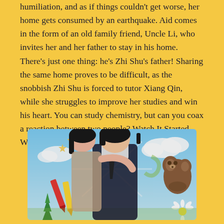humiliation, and as if things couldn't get worse, her home gets consumed by an earthquake. Aid comes in the form of an old family friend, Uncle Li, who invites her and her father to stay in his home. There's just one thing: he's Zhi Shu's father! Sharing the same home proves to be difficult, as the snobbish Zhi Shu is forced to tutor Xiang Qin, while she struggles to improve her studies and win his heart. You can study chemistry, but can you coax a reaction between two people? Watch It Started With A Kiss here
[Figure (photo): Promotional image for the drama 'It Started With A Kiss' showing a young woman kissing a young man on the cheek while embracing him from behind. The background features a colorful illustrated scene with stars, clouds, a teddy bear, crayons, and a Christmas tree.]